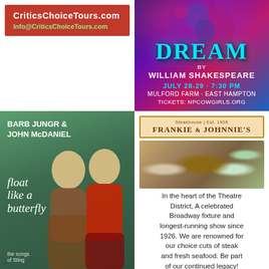[Figure (illustration): Critics Choice Tours advertisement: red background box with white bold text 'CriticsChoiceTours.com' and green text 'Info@CriticsChoiceTours.com']
[Figure (illustration): A Midsummer Night's Dream poster by William Shakespeare. Colorful artistic background with text: DREAM, BY WILLIAM SHAKESPEARE, JULY 28-29 · 7:30 PM, MULFORD FARM · EAST HAMPTON, TICKETS: NPCOWGIRLS.ORG]
[Figure (illustration): Album cover: BARB JUNGR & JOHN McDANIEL, float like a butterfly, the songs of Sting. Green background with two people posing.]
[Figure (illustration): Frankie & Johnnie's restaurant advertisement with logo, food photo, and text about Theatre District steakhouse since 1926. COCKTAILS-LUNCH-DINNER, Private Dining Room Available.]